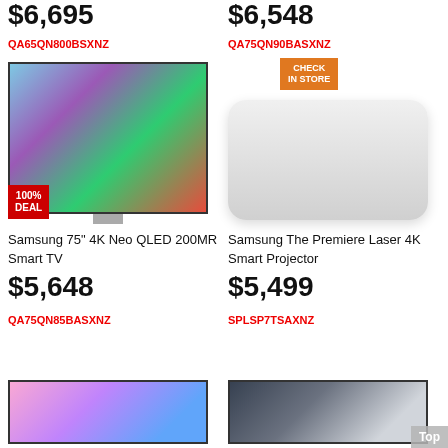$6,695
QA65QN800BSXNZ
$6,548
QA75QN90BASXNZ
[Figure (photo): CHECK IN STORE orange badge]
[Figure (photo): Samsung TV with colorful abstract display]
[Figure (photo): 100% DEAL red badge]
[Figure (photo): Samsung The Premiere Laser 4K Smart Projector white box]
Samsung 75" 4K Neo QLED 200MR Smart TV
Samsung The Premiere Laser 4K Smart Projector
$5,648
QA75QN85BASXNZ
$5,499
SPLSP7TSAXNZ
[Figure (photo): TV product image bottom left]
[Figure (photo): TV product image bottom right]
Top